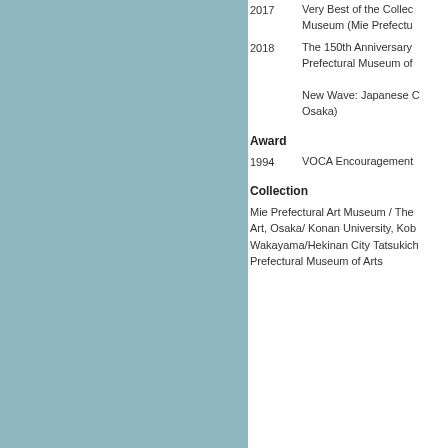[Figure (photo): Light teal/blue-green colored rectangular panel on the left side of the page]
2017   Very Best of the Collection Museum (Mie Prefectu…
2018   The 150th Anniversary Prefectural Museum of…
   New Wave: Japanese … Osaka)
Award
1994   VOCA Encouragement…
Collection
Mie Prefectural Art Museum / The … Art, Osaka/ Konan University, Kob… Wakayama/Hekinan City Tatsukic… Prefectural Museum of Arts